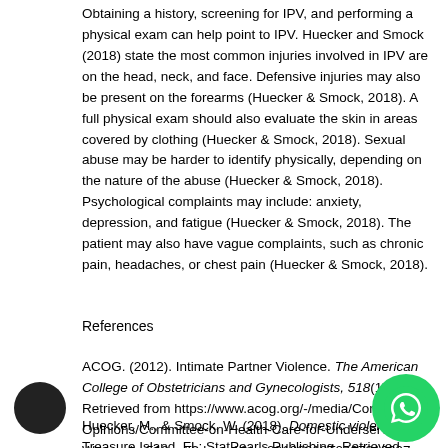Obtaining a history, screening for IPV, and performing a physical exam can help point to IPV. Huecker and Smock (2018) state the most common injuries involved in IPV are on the head, neck, and face. Defensive injuries may also be present on the forearms (Huecker & Smock, 2018). A full physical exam should also evaluate the skin in areas covered by clothing (Huecker & Smock, 2018). Sexual abuse may be harder to identify physically, depending on the nature of the abuse (Huecker & Smock, 2018). Psychological complaints may include: anxiety, depression, and fatigue (Huecker & Smock, 2018). The patient may also have vague complaints, such as chronic pain, headaches, or chest pain (Huecker & Smock, 2018).
References
ACOG. (2012). Intimate Partner Violence. The American College of Obstetricians and Gynecologists, 518(1), 1-6. Retrieved from https://www.acog.org/-/media/Committee-Opinions/Committee-on-Health-Care-for-Underserved-Women/co518.pdf?dmc=1&ts=20190318T0127216097
Huecker, M., & Smock, W. (2018). Domestic violence. Treasure Island, FL: StatPearls Publishing. Retrieved from